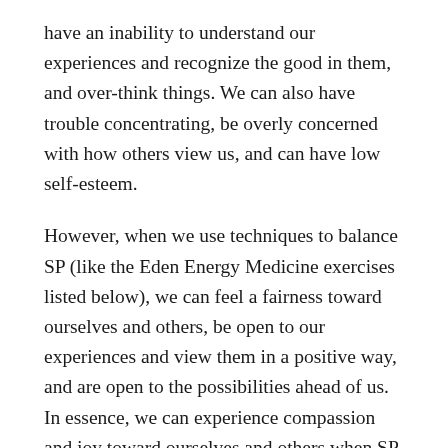have an inability to understand our experiences and recognize the good in them, and over-think things. We can also have trouble concentrating, be overly concerned with how others view us, and can have low self-esteem.
However, when we use techniques to balance SP (like the Eden Energy Medicine exercises listed below), we can feel a fairness toward ourselves and others, be open to our experiences and view them in a positive way, and are open to the possibilities ahead of us. In essence, we can experience compassion and joy toward ourselves and others when SP is balanced.
The Spleen Radiant Circuit Activation exercise can help to boost SP as well as an energy system associated with keeping us in a joy filled place. Place your thumb, first